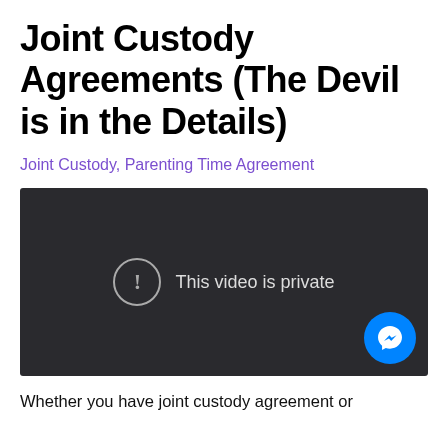Joint Custody Agreements (The Devil is in the Details)
Joint Custody, Parenting Time Agreement
[Figure (screenshot): Embedded video player with dark background showing 'This video is private' message with an exclamation mark icon. A blue Facebook Messenger button is overlaid in the bottom-right corner.]
Whether you have joint custody agreement or